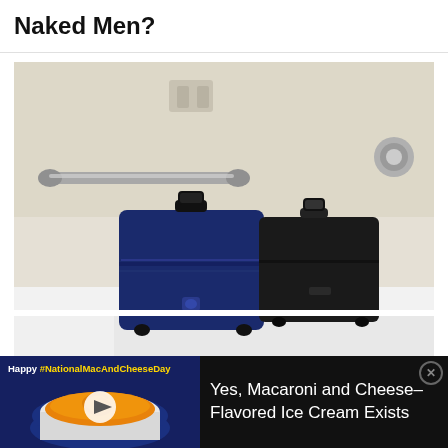Naked Men?
[Figure (photo): Photo of two suitcases (one navy blue, one black) placed inside a white bathtub with grab bars and a faucet visible]
[Figure (photo): Advertisement banner: left side dark navy background with text 'Happy #NationalMacAndCheeseDay' and an image of mac and cheese in a cup with a play button; right side black background with text 'Yes, Macaroni and Cheese-Flavored Ice Cream Exists' and a close button]
[Figure (screenshot): Bottom partial image showing animated character (appears to be Buzz Lightyear style) with purple hair against dark background]